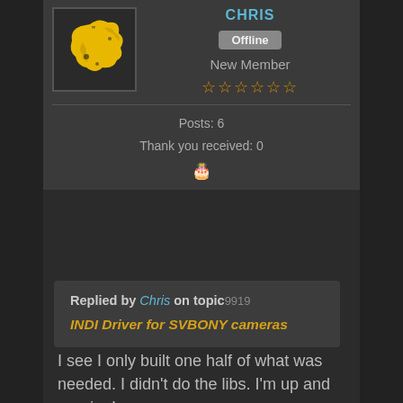CHRIS
Offline
New Member
Posts: 6
Thank you received: 0
Replied by Chris on topic
INDI Driver for SVBONY cameras
I see I only built one half of what was needed. I didn't do the libs. I'm up and running!